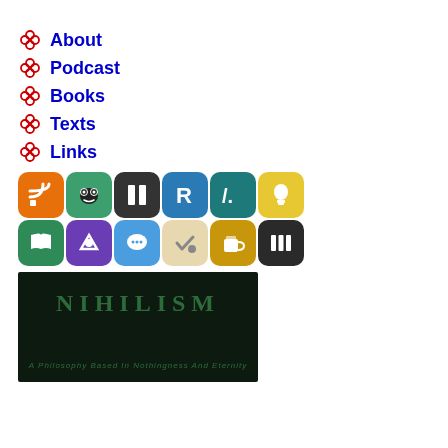About
Podcast
Books
Texts
Links
[Figure (screenshot): Grid of social media and app icons in two rows: RSS, Frogger/Alien, Instapaper, Reddit, Hacker News, Pinboard-like, then iBooks, Readmill, Speeko, Instapaper-check, Untappd, Columns app]
[Figure (photo): Book cover for NIHILISM: A Philosophy Based In Nothingness And Eternity, dark green text on black background]